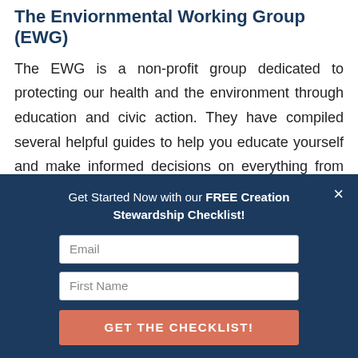The Enviornmental Working Group (EWG)
The EWG is a non-profit group dedicated to protecting our health and the environment through education and civic action. They have compiled several helpful guides to help you educate yourself and make informed decisions on everything from food, to cosmetics, to light bulbs. I have found their
[Figure (screenshot): Modal popup with dark navy background. Contains heading 'Get Started Now with our FREE Creation Stewardship Checklist!', an Email input field, a First Name input field, and a 'GET THE CHECKLIST!' button in coral/salmon color. A close (×) button is in the top right corner.]